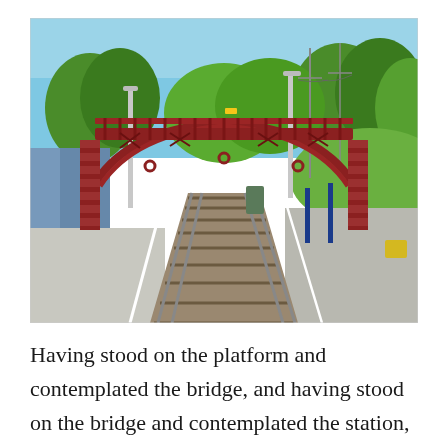[Figure (photo): A red ornate iron footbridge arching over railway tracks at a train station on a sunny day. Platform visible on the left, trees and blue sky in the background.]
Having stood on the platform and contemplated the bridge, and having stood on the bridge and contemplated the station, I